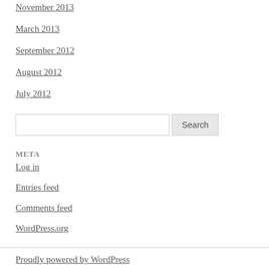November 2013
March 2013
September 2012
August 2012
July 2012
Search input and button
META
Log in
Entries feed
Comments feed
WordPress.org
Proudly powered by WordPress